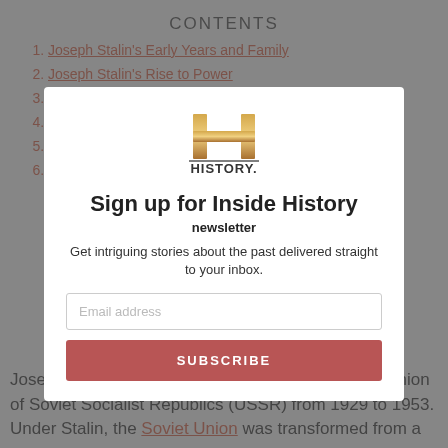CONTENTS
Joseph Stalin's Early Years and Family
Joseph Stalin's Rise to Power
The Soviet Union Under Joseph Stalin
Joseph Stalin and World War II
Joseph Stalin's Later Years
How Did Joseph Stalin Die?
Joseph Stalin (1878-1953) was the dictator of the Union of Soviet Socialist Republics (USSR) from 1929 to 1953. Under Stalin, the Soviet Union was transformed from a
[Figure (logo): HISTORY channel logo — gold stylized H above the word HISTORY with a period]
Sign up for Inside History newsletter
Get intriguing stories about the past delivered straight to your inbox.
Email address
SUBSCRIBE